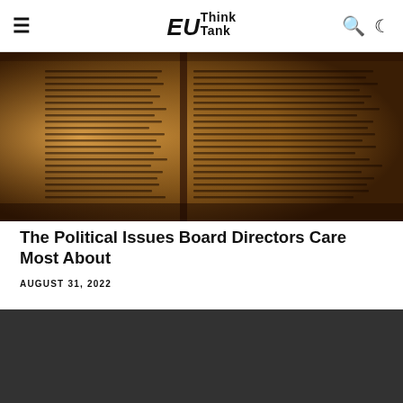EU Think Tank
[Figure (photo): Sepia-toned photograph of an open ancient book or manuscript with dense text columns visible on the pages, with warm golden-brown tones]
The Political Issues Board Directors Care Most About
AUGUST 31, 2022
[Figure (screenshot): Dark background image showing the text 'rvard' and 'siness' in large white bold letters, partial text visible cropped (Harvard Business)]